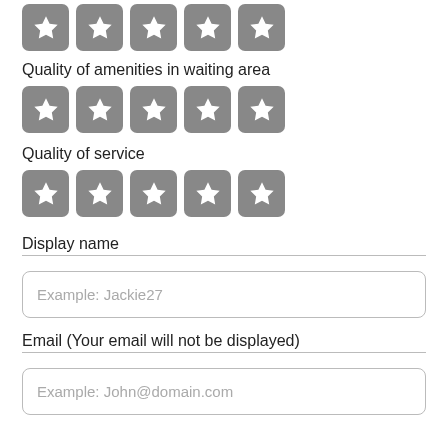[Figure (other): Five star rating buttons (gray rounded squares with white stars) - top row, no label visible (cropped)]
Quality of amenities in waiting area
[Figure (other): Five star rating buttons (gray rounded squares with white stars) for Quality of amenities in waiting area]
Quality of service
[Figure (other): Five star rating buttons (gray rounded squares with white stars) for Quality of service]
Display name
Example: Jackie27
Email (Your email will not be displayed)
Example: John@domain.com